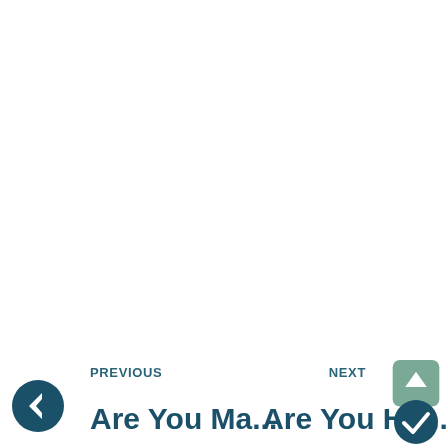PREVIOUS  Are You Ma...  NEXT  Are You Ho...